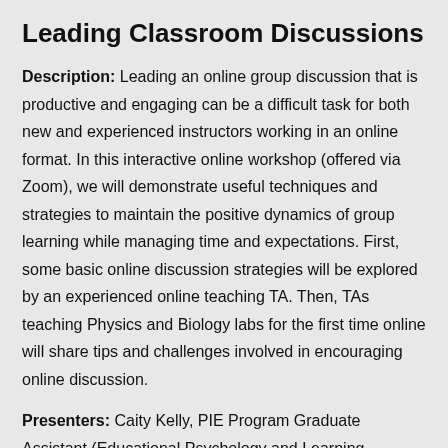Leading Classroom Discussions
Description: Leading an online group discussion that is productive and engaging can be a difficult task for both new and experienced instructors working in an online format. In this interactive online workshop (offered via Zoom), we will demonstrate useful techniques and strategies to maintain the positive dynamics of group learning while managing time and expectations. First, some basic online discussion strategies will be explored by an experienced online teaching TA. Then, TAs teaching Physics and Biology labs for the first time online will share tips and challenges involved in encouraging online discussion.
Presenters: Caity Kelly, PIE Program Graduate Assistant (Educational Psychology and Learning Systems